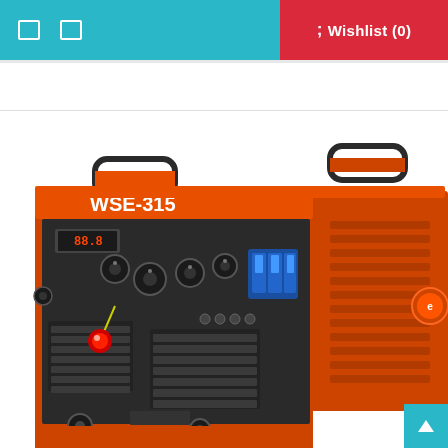Wishlist (0)
[Figure (photo): WSE-315 TIG/MMA welding machine in orange and black color, showing front panel with control knobs, digital display, circuit breaker, and ventilation slots. Two carry handles on top. Side panel shows ventilation louvers and brand logo.]